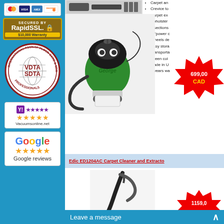[Figure (other): Credit card logos (MasterCard, Visa, Amex, Discover)]
[Figure (logo): Secured by RapidSSL $10,000 Warranty badge]
[Figure (logo): International Association of Floor Care & Sewing Professionals VDTA SDTA logo badge]
[Figure (other): Yahoo shopping 5-star rating badge, Vacuumsonline.net]
[Figure (other): Google 5-star Google reviews badge]
[Figure (photo): Vacuum cleaner accessories/tools photo at top]
Carpet and
Crevice to
Carpet ex
Upholster
3 sections
33'power c
Wheels de
Easy stora
Transporta
Green col
Made in U
2 years wa
[Figure (photo): George green vacuum cleaner with hose and attachments]
[Figure (other): Price badge showing 699,00 CAD]
Edic ED1204AC Carpet Cleaner and Extracto
[Figure (photo): Edic carpet cleaner/extractor product image]
[Figure (other): Price badge showing 1159,0]
Leave a message